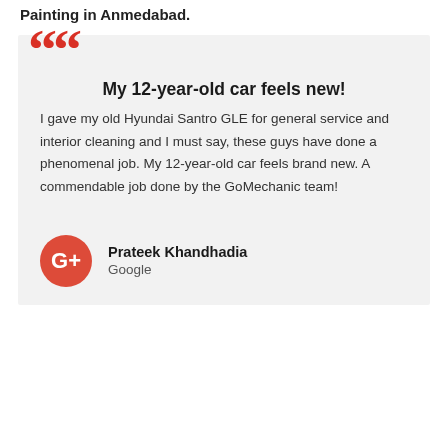Painting in Anmedabad.
My 12-year-old car feels new!

I gave my old Hyundai Santro GLE for general service and interior cleaning and I must say, these guys have done a phenomenal job. My 12-year-old car feels brand new. A commendable job done by the GoMechanic team!
Prateek Khandhadia
Google